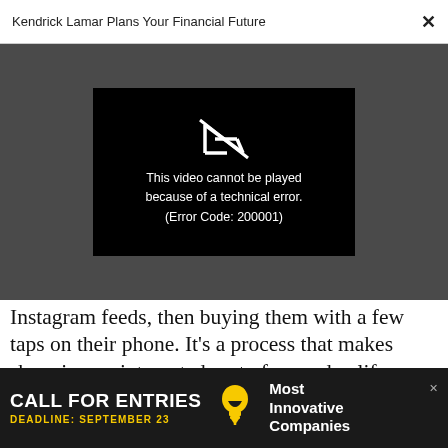Kendrick Lamar Plans Your Financial Future ×
[Figure (screenshot): Video player showing error message: 'This video cannot be played because of a technical error. (Error Code: 200001)' on a black background with a broken play icon, set within a dark gray overlay area.]
Instagram feeds, then buying them with a few taps on their phone. It's a process that makes shopping an integrated part of everyday life, rather than an occasional activity.
[Figure (other): Advertisement banner: 'CALL FOR ENTRIES DEADLINE: SEPTEMBER 23' with light bulb icon and text 'Most Innovative Companies' on dark background.]